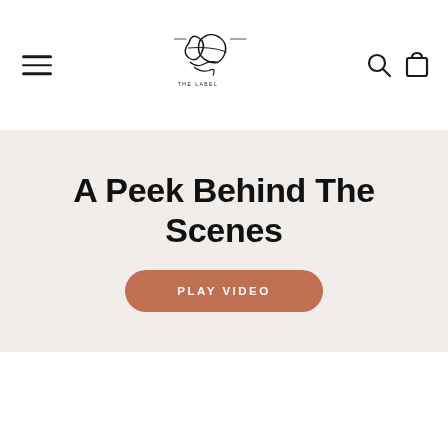Joey James The Label — navigation header with menu, logo, search, and cart icons
A Peek Behind The Scenes
PLAY VIDEO